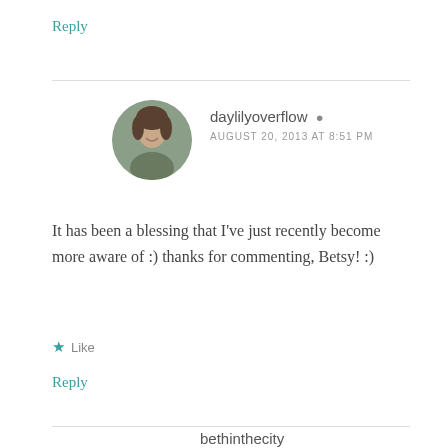Reply
[Figure (photo): Circular avatar photo of a woman smiling outdoors]
daylilyoverflow
AUGUST 20, 2013 AT 8:51 PM
It has been a blessing that I've just recently become more aware of :) thanks for commenting, Betsy! :)
Like
Reply
bethinthecity
AUGUST 24, 2013 AT 7:52 PM